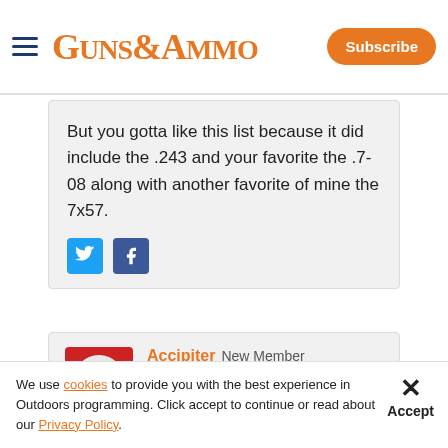GUNS&AMMO | Subscribe
But you gotta like this list because it did include the .243 and your favorite the .7-08 along with another favorite of mine the 7x57.
Accipiter  New Member  Posts: 898  Rank: Senior Member
Advertisement
We use cookies to provide you with the best experience in Outdoors programming. Click accept to continue or read about our Privacy Policy.